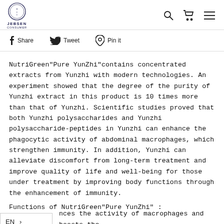Jebsen Consumer logo with navigation icons (search, cart, menu)
Share  Tweet  Pin it
NutriGreen"Pure YunZhi"contains concentrated extracts from Yunzhi with modern technologies. An experiment showed that the degree of the purity of Yunzhi extract in this product is 10 times more than that of Yunzhi. Scientific studies proved that both Yunzhi polysaccharides and Yunzhi polysaccharide-peptides in Yunzhi can enhance the phagocytic activity of abdominal macrophages, which strengthen immunity. In addition, Yunzhi can alleviate discomfort from long-term treatment and improve quality of life and well-being for those under treatment by improving body functions through the enhancement of immunity.
Functions of NutriGreen"Pure YunZhi" :
…nces the activity of macrophages and boosts the